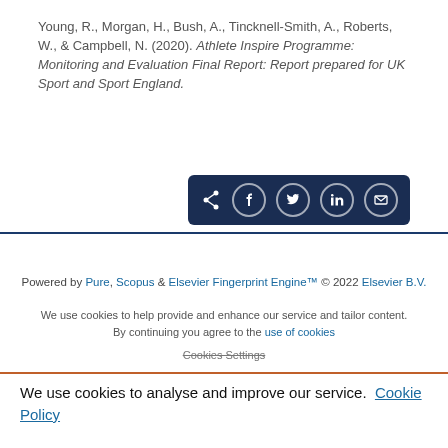Young, R., Morgan, H., Bush, A., Tincknell-Smith, A., Roberts, W., & Campbell, N. (2020). Athlete Inspire Programme: Monitoring and Evaluation Final Report: Report prepared for UK Sport and Sport England.
[Figure (other): Social share bar with share, Facebook, Twitter, LinkedIn, and email icons on dark navy background]
Powered by Pure, Scopus & Elsevier Fingerprint Engine™ © 2022 Elsevier B.V.
We use cookies to help provide and enhance our service and tailor content. By continuing you agree to the use of cookies
Cookies Settings
We use cookies to analyse and improve our service. Cookie Policy